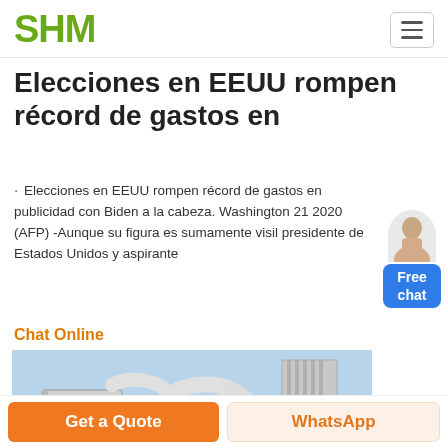SHM
Elecciones en EEUU rompen récord de gastos en
Elecciones en EEUU rompen récord de gastos en publicidad con Biden a la cabeza. Washington 21 2020 (AFP) -Aunque su figura es sumamente visi... presidente de Estados Unidos y aspirante
Chat Online
[Figure (photo): Industrial milling or grinding equipment with pipes and ducts outdoors]
Get a Quote | WhatsApp